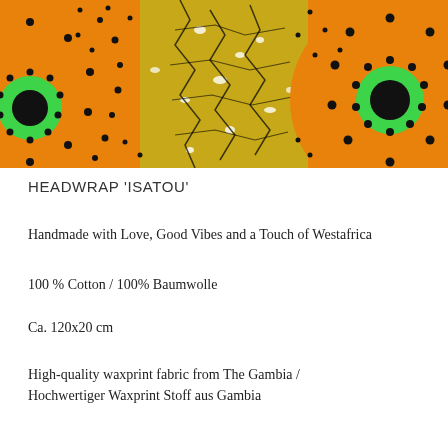[Figure (photo): Colorful African wax print fabric with orange, yellow-green, black, and green circular sunflower-like patterns on a white background.]
HEADWRAP 'ISATOU'
Handmade with Love, Good Vibes and a Touch of Westafrica
100 % Cotton / 100% Baumwolle
Ca. 120x20 cm
High-quality waxprint fabric from The Gambia / Hochwertiger Waxprint Stoff aus Gambia